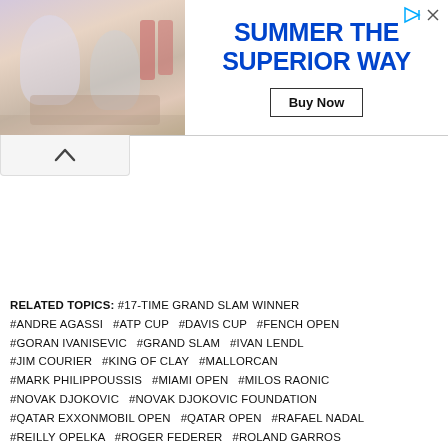[Figure (photo): Advertisement banner showing people at a table with bottles and text 'SUMMER THE SUPERIOR WAY' with a Buy Now button]
RELATED TOPICS: #17-TIME GRAND SLAM WINNER #ANDRE AGASSI #ATP CUP #DAVIS CUP #FENCH OPEN #GORAN IVANISEVIC #GRAND SLAM #IVAN LENDL #JIM COURIER #KING OF CLAY #MALLORCAN #MARK PHILIPPOUSSIS #MIAMI OPEN #MILOS RAONIC #NOVAK DJOKOVIC #NOVAK DJOKOVIC FOUNDATION #QATAR EXXONMOBIL OPEN #QATAR OPEN #RAFAEL NADAL #REILLY OPELKA #ROGER FEDERER #ROLAND GARROS #STEFAN EDBERG #STEFFANOS TSITSIPAS #TENNIS CHANNEL